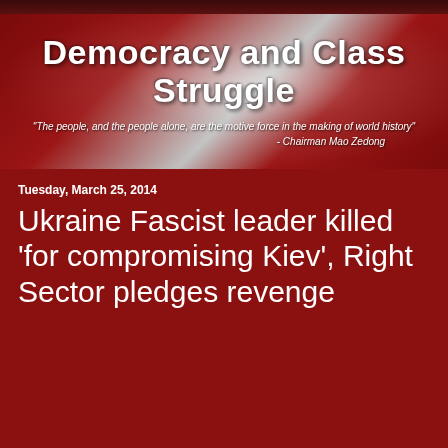[Figure (illustration): Website banner with dark red gradient background and radial white glow. Large bold white text reads 'Democracy and Class Struggle'. Below in italic white text: '"The people, and the people alone, are the motive force in the making of world history"' with attribution '- Chairman Mao Zedong'.]
Tuesday, March 25, 2014
Ukraine Fascist leader killed 'for compromising Kiev', Right Sector pledges revenge